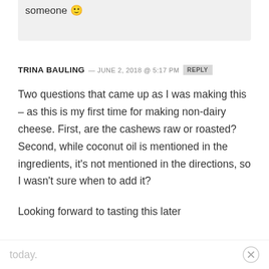someone 🙂
TRINA BAULING — JUNE 2, 2018 @ 5:17 PM  REPLY
Two questions that came up as I was making this – as this is my first time for making non-dairy cheese. First, are the cashews raw or roasted? Second, while coconut oil is mentioned in the ingredients, it's not mentioned in the directions, so I wasn't sure when to add it?
Looking forward to tasting this later today.